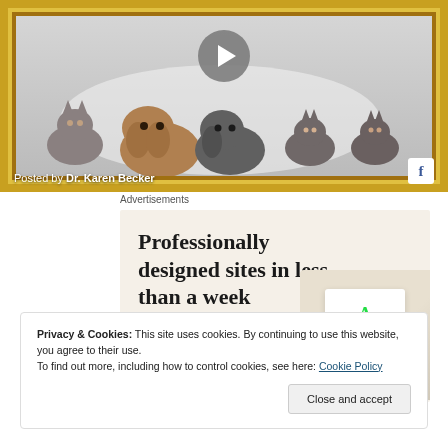[Figure (screenshot): Video thumbnail with cats and dogs, golden ornate frame, play button, 'Posted by Dr. Karen Becker' overlay, Facebook icon]
Advertisements
[Figure (screenshot): Advertisement banner: 'Professionally designed sites in less than a week' with 'Explore options' green button and website mockup images]
Privacy & Cookies: This site uses cookies. By continuing to use this website, you agree to their use.
To find out more, including how to control cookies, see here: Cookie Policy
Close and accept